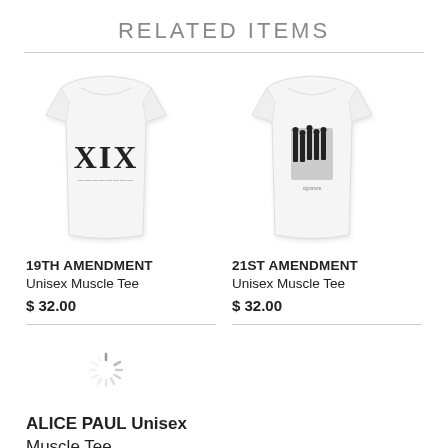RELATED ITEMS
[Figure (illustration): White sleeveless muscle tee with XIX printed in large serif letters]
19TH AMENDMENT
Unisex Muscle Tee
$ 32.00
[Figure (illustration): White sleeveless muscle tee with a black and white photo of women]
21ST AMENDMENT
Unisex Muscle Tee
$ 32.00
[Figure (illustration): Loading spinner icon]
ALICE PAUL Unisex Muscle Tee